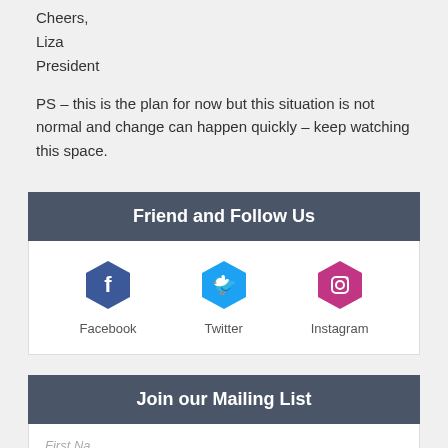Cheers,
Liza
President
PS – this is the plan for now but this situation is not normal and change can happen quickly – keep watching this space.
Friend and Follow Us
[Figure (infographic): Three social media icons: Facebook (blue hexagon with f), Twitter (light blue hexagon with bird), Instagram (pink/magenta hexagon with camera icon), each with label below]
Join our Mailing List
First Na...